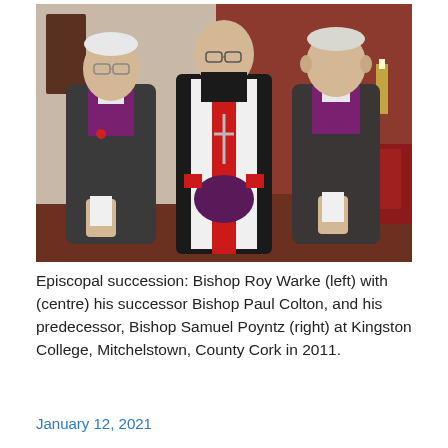[Figure (photo): Three men standing together in a church or college hall. The man on the left is an elderly bishop wearing a dark grey suit with purple episcopal vestments (purple shirt/bib). The man in the centre is a bald, heavyset bishop in full black and white Episcopal robes with a red stole and holding a purple velvet item. The man on the right is an elderly bishop wearing a dark suit with purple episcopal vestments. Red seating and a reddish-brown wall are visible in the background.]
Episcopal succession: Bishop Roy Warke (left) with (centre) his successor Bishop Paul Colton, and his predecessor, Bishop Samuel Poyntz (right) at Kingston College, Mitchelstown, County Cork in 2011.
January 12, 2021